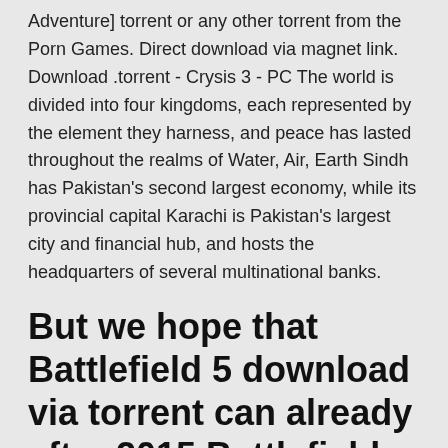Adventure] torrent or any other torrent from the Porn Games. Direct download via magnet link. Download .torrent - Crysis 3 - PC The world is divided into four kingdoms, each represented by the element they harness, and peace has lasted throughout the realms of Water, Air, Earth Sindh has Pakistan's second largest economy, while its provincial capital Karachi is Pakistan's largest city and financial hub, and hosts the headquarters of several multinational banks.
But we hope that Battlefield 5 download via torrent can already after 2015 Battlefield Hardline.
Download dog town yify movies torrent: When Dogtown residents get a little too loud for their own good, the neighbors take matters and call for help, but what actually affects to...